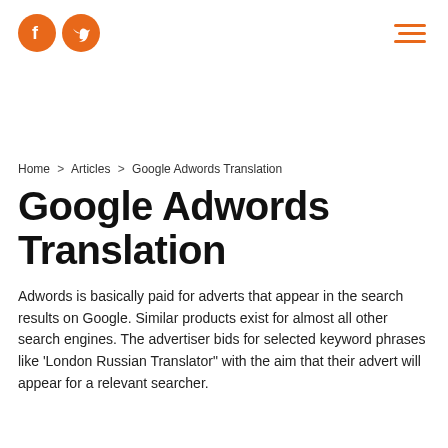[Figure (logo): Orange circular Facebook and Twitter social media icons side by side]
[Figure (other): Hamburger menu icon with three orange horizontal lines]
Home > Articles > Google Adwords Translation
Google Adwords Translation
Adwords is basically paid for adverts that appear in the search results on Google. Similar products exist for almost all other search engines. The advertiser bids for selected keyword phrases like 'London Russian Translator" with the aim that their advert will appear for a relevant searcher.